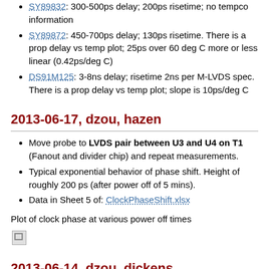SY89832: 300-500ps delay; 200ps risetime; no tempco information
SY89872: 450-700ps delay; 130ps risetime. There is a prop delay vs temp plot; 25ps over 60 deg C more or less linear (0.42ps/deg C)
DS91M125: 3-8ns delay; risetime 2ns per M-LVDS spec. There is a prop delay vs temp plot; slope is 10ps/deg C
2013-06-17, dzou, hazen
Move probe to LVDS pair between U3 and U4 on T1 (Fanout and divider chip) and repeat measurements.
Typical exponential behavior of phase shift. Height of roughly 200 ps (after power off of 5 mins).
Data in Sheet 5 of: ClockPhaseShift.xlsx
Plot of clock phase at various power off times
[Figure (photo): Broken/missing image placeholder]
2013-06-14, dzou, dickens